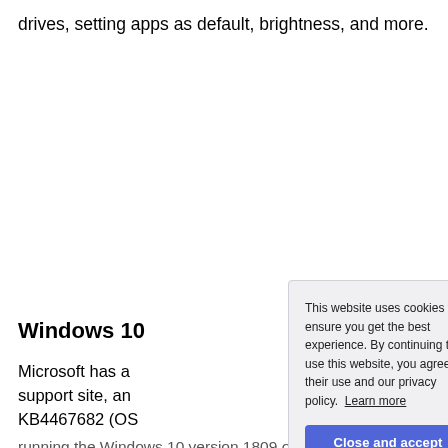drives, setting apps as default, brightness, and more.
Windows 10
Microsoft has a support site, an KB4467682 (OS running the Windows 10 version 1809 on your PC, this
[Figure (screenshot): Cookie consent popup overlay with text: 'This website uses cookies to ensure you get the best experience. By continuing to use this website, you agree to their use and our privacy policy. Learn more' and a blue 'Close and accept' button.]